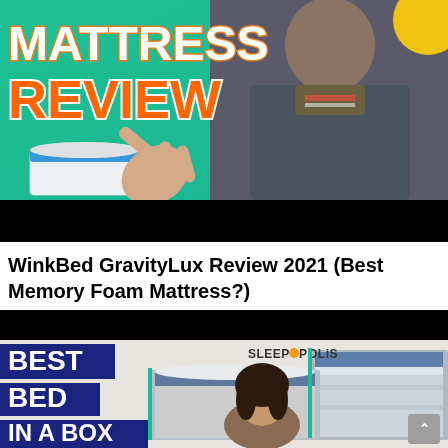[Figure (screenshot): YouTube video thumbnail for WinkBed GravityLux mattress review. Teal/green background with large bold orange text reading 'MATTRESS REVIEW'. Man in grey zip-up fleece pointing at a mattress graphic. Yellow circle accent top right.]
WinkBed GravityLux Review 2021 (Best Memory Foam Mattress?)
[Figure (screenshot): YouTube video thumbnail for Best Bed in a Box roundup by Sleepopolis. Dark header bar, then image showing text 'BEST BED IN A BOX' in navy blue boxes on left, Sleepopolis logo top right, woman with dark hair smiling, mattresses displayed in background, scroll-to-top button bottom right.]